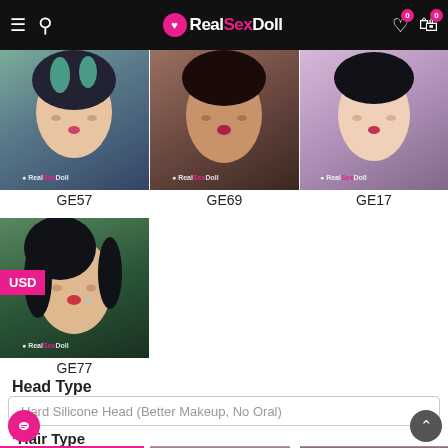RealSexDoll
[Figure (photo): Product image GE57 - female face with teal/green hair]
GE57
[Figure (photo): Product image GE69 - female face with dark hair]
GE69
[Figure (photo): Product image GE17 - female face with black hair on pink background]
GE17
[Figure (photo): Product image GE77 - female face with long dark hair]
GE77
Head Type
Hard Silicone Head (Better Makeup, No Oral)
*Hair Type
[Figure (photo): Hair type option 1 - dark brown hair (selected)]
[Figure (photo): Hair type option 2 - pink/light hair]
[Figure (photo): Hair type option 3 - pink/mauve hair on dark background]